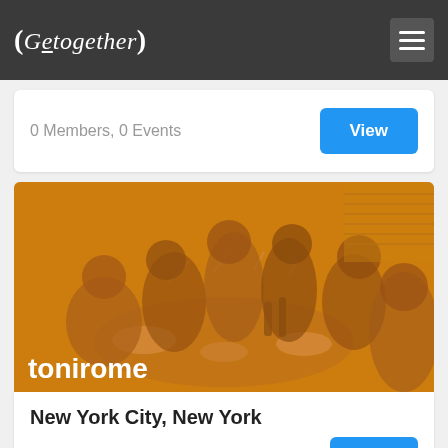(Gettogether)
0 Members, 0 Events
[Figure (photo): Group of people sitting around a table raising glasses in a toast, with an orange/sepia color overlay. Username 'tonirome' displayed at bottom left.]
New York City, New York
1 Members, 1 Events